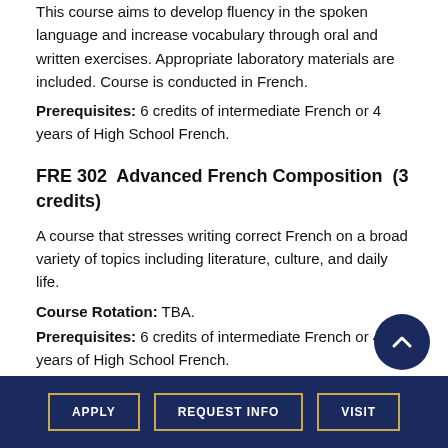This course aims to develop fluency in the spoken language and increase vocabulary through oral and written exercises. Appropriate laboratory materials are included. Course is conducted in French.
Prerequisites: 6 credits of intermediate French or 4 years of High School French.
FRE 302  Advanced French Composition  (3 credits)
A course that stresses writing correct French on a broad variety of topics including literature, culture, and daily life.
Course Rotation: TBA.
Prerequisites: 6 credits of intermediate French or 4 years of High School French.
APPLY   REQUEST INFO   VISIT